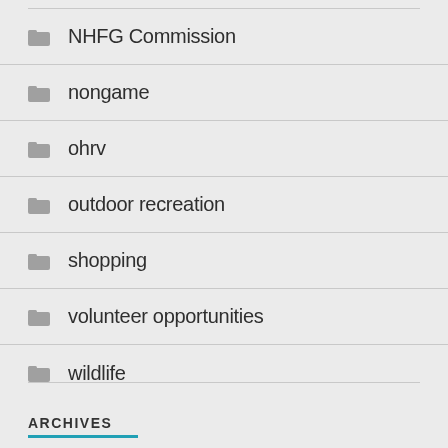NHFG Commission
nongame
ohrv
outdoor recreation
shopping
volunteer opportunities
wildlife
ARCHIVES